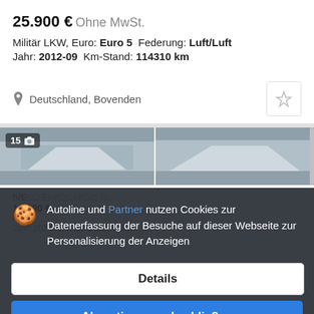25.900 €  Ohne MwSt.
Militär LKW, Euro: Euro 5  Federung: Luft/Luft  Jahr: 2012-09  Km-Stand: 114310 km
Deutschland, Bovenden
[Figure (photo): Two truck cargo images side by side with photo count badge showing 15]
Autoline und Partner nutzen Cookies zur Datenerfassung der Besuche auf dieser Webseite zur Personalisierung der Anzeigen
Details
Akzeptieren und schließen